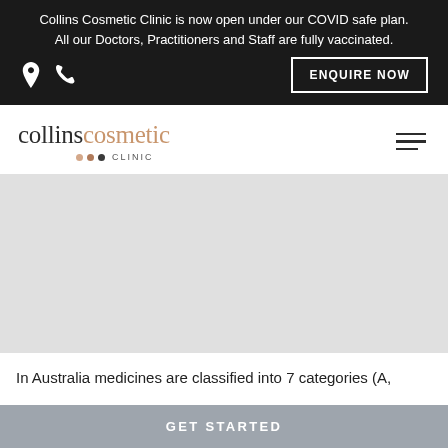Collins Cosmetic Clinic is now open under our COVID safe plan. All our Doctors, Practitioners and Staff are fully vaccinated.
[Figure (logo): Collins Cosmetic Clinic logo with location and phone icons and ENQUIRE NOW button]
[Figure (photo): Hero image area (grey placeholder)]
In Australia medicines are classified into 7 categories (A,
GET STARTED